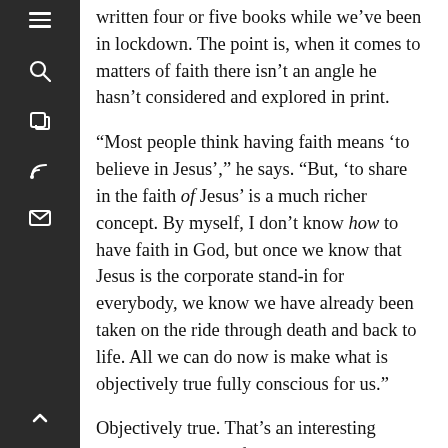written four or five books while we’ve been in lockdown. The point is, when it comes to matters of faith there isn’t an angle he hasn’t considered and explored in print.
“Most people think having faith means ‘to believe in Jesus’,” he says. “But, ‘to share in the faith of Jesus’ is a much richer concept. By myself, I don’t know how to have faith in God, but once we know that Jesus is the corporate stand-in for everybody, we know we have already been taken on the ride through death and back to life. All we can do now is make what is objectively true fully conscious for us.”
Objectively true. That’s an interesting statement to say as fact, particularly in a